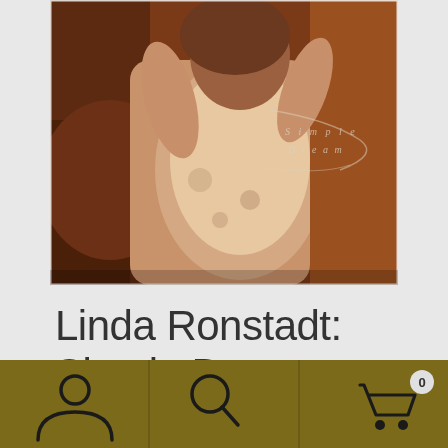[Figure (photo): Album cover photo of Linda Ronstadt Simple Dreams 1977, showing a woman in a floral dress against a reddish-brown background with cursive 'Simple Dreams' text overlay]
Linda Ronstadt: Simple Dreams 1977 CD-New 29.99
[Figure (infographic): Bottom navigation bar with dark olive/gold background containing three icons: person/account icon, search magnifying glass icon, and shopping cart icon with badge showing 0]